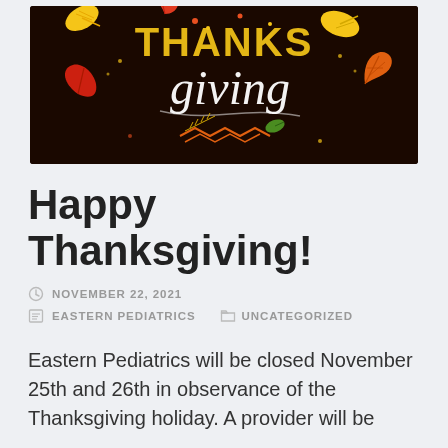[Figure (illustration): Thanksgiving themed banner with colorful autumn leaves and decorative text reading 'Thanks giving' on a dark brown/black background]
Happy Thanksgiving!
NOVEMBER 22, 2021
EASTERN PEDIATRICS   UNCATEGORIZED
Eastern Pediatrics will be closed November 25th and 26th in observance of the Thanksgiving holiday. A provider will be